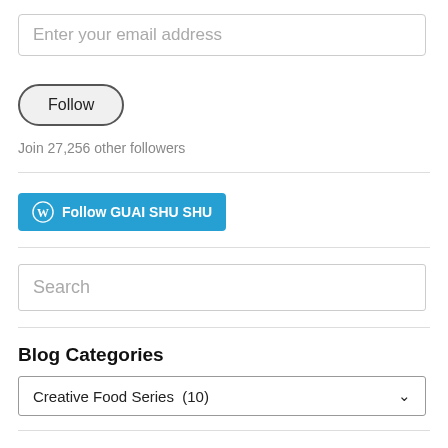Enter your email address
Follow
Join 27,256 other followers
[Figure (other): Follow GUAI SHU SHU button with WordPress logo]
Search
Blog Categories
Creative Food Series  (10)